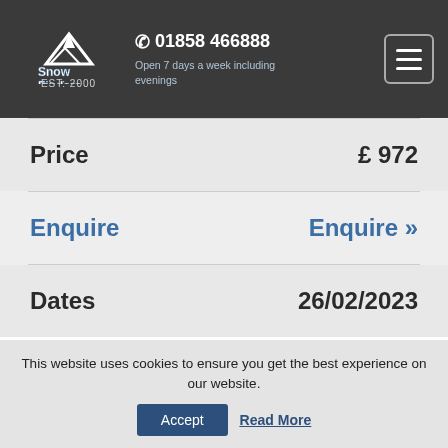Snow Finders EST: 2000 | 01858 466888 | Open 7 days a week including evenings
|  |  |
| --- | --- |
| Price | £ 972 |
| Enquire | Enquire » |
| Dates | 26/02/2023 |
This website uses cookies to ensure you get the best experience on our website. Accept | Read More